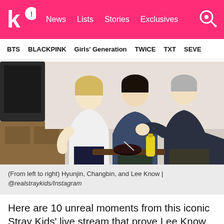k! News Lists Stories Exclusives
BTS BLACKPINK Girls' Generation TWICE TXT SEVE
[Figure (photo): Three young men sitting together around a low table with food and a yellow bottle. The man on the left has blonde hair and wears a white shirt. The middle man wears a dark blue t-shirt. The man on the right has grey/silver hair and wears a dark t-shirt. They appear to be laughing and interacting.]
(From left to right) Hyunjin, Changbin, and Lee Know | @realstraykids/Instagram
Here are 10 unreal moments from this iconic Stray Kids' live stream that prove Lee Know, Hyunjin and Changbin are the trio with the most chaotic energy.